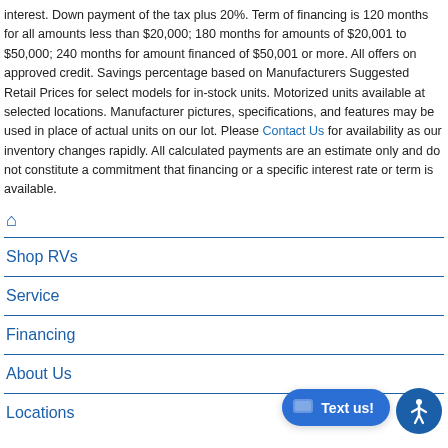interest. Down payment of the tax plus 20%. Term of financing is 120 months for all amounts less than $20,000; 180 months for amounts of $20,001 to $50,000; 240 months for amount financed of $50,001 or more. All offers on approved credit. Savings percentage based on Manufacturers Suggested Retail Prices for select models for in-stock units. Motorized units available at selected locations. Manufacturer pictures, specifications, and features may be used in place of actual units on our lot. Please Contact Us for availability as our inventory changes rapidly. All calculated payments are an estimate only and do not constitute a commitment that financing or a specific interest rate or term is available.
Shop RVs
Service
Financing
About Us
Locations